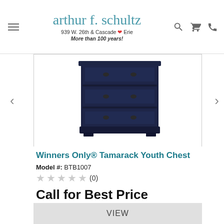arthur f. schultz — 939 W. 26th & Cascade Erie — More than 100 years!
[Figure (photo): Dark navy blue youth chest of drawers with decorative hardware, shown against white background]
Winners Only® Tamarack Youth Chest
Model #: BTB1007
★★★★★ (0)
Call for Best Price
ABSOLUTELY FREE DELIVERY THROUGHOUT TRI-STATE AREA
VIEW